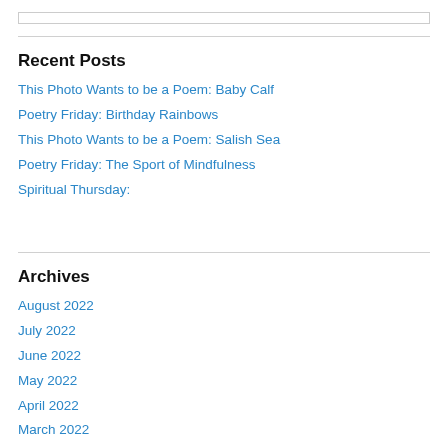Recent Posts
This Photo Wants to be a Poem: Baby Calf
Poetry Friday: Birthday Rainbows
This Photo Wants to be a Poem: Salish Sea
Poetry Friday: The Sport of Mindfulness
Spiritual Thursday:
Archives
August 2022
July 2022
June 2022
May 2022
April 2022
March 2022
February 2022